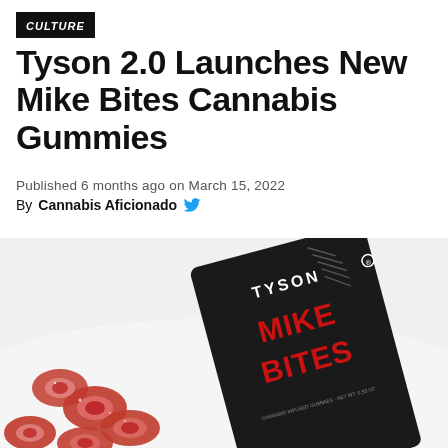CULTURE
Tyson 2.0 Launches New Mike Bites Cannabis Gummies
Published 6 months ago on March 15, 2022
By Cannabis Aficionado
[Figure (photo): A black package of Tyson Mike Bites cannabis gummies lying on a white surface, with several red gummy rings scattered in front of it. The package features the Tyson brand logo with a face illustration and large red and white text reading MIKE BITES.]